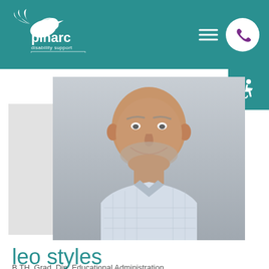[Figure (logo): Pinarc disability support logo with bird graphic and tagline 'With you all the way']
[Figure (photo): Portrait photo of Leo Styles, a middle-aged bald man with a grey beard, smiling, wearing a light blue checked shirt]
leo styles
B.TH, Grad. Dip. Educational Administration